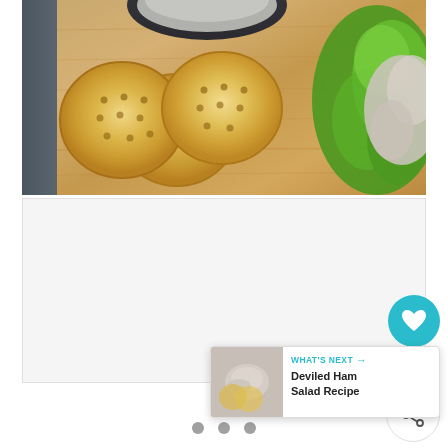[Figure (photo): Food photo showing crackers and chicken salad with lettuce on a wooden cutting board, with a bowl of chicken salad in background]
[Figure (screenshot): White advertisement placeholder box below the food photo]
[Figure (infographic): Circular heart/like button (teal), count showing 1, share button (white with share icon), and What's Next panel showing Deviled Ham Salad Recipe with thumbnail]
1
WHAT'S NEXT → Deviled Ham Salad Recipe